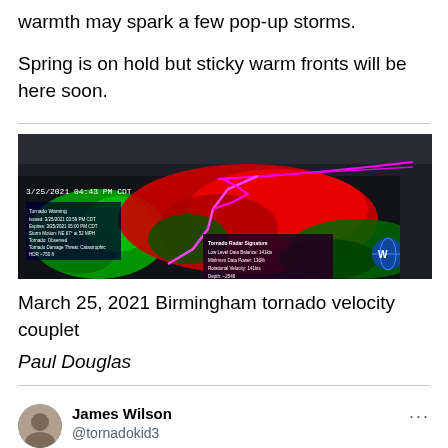warmth may spark a few pop-up storms.
Spring is on hold but sticky warm fronts will be here soon.
[Figure (screenshot): Radar screenshot showing Birmingham tornado velocity couplet dated 3/25/2021 04:43 PM CDT, with red/green Doppler radar colors and a bright pink/magenta tornado track line. A tooltip shows Tornado Radar Signature data including Low Level Data Balance, Minimum Data Power, Rotational Velocity, and Depth fields.]
March 25, 2021 Birmingham tornado velocity couplet
Paul Douglas
James Wilson
@tornadokid3